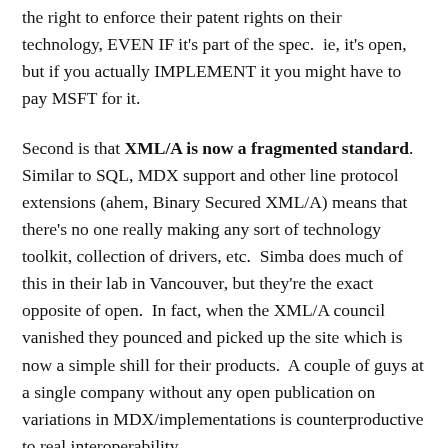the right to enforce their patent rights on their technology, EVEN IF it's part of the spec.  ie, it's open, but if you actually IMPLEMENT it you might have to pay MSFT for it.
Second is that XML/A is now a fragmented standard.  Similar to SQL, MDX support and other line protocol extensions (ahem, Binary Secured XML/A) means that there's no one really making any sort of technology toolkit, collection of drivers, etc.  Simba does much of this in their lab in Vancouver, but they're the exact opposite of open.  In fact, when the XML/A council vanished they pounced and picked up the site which is now a simple shill for their products.  A couple of guys at a single company without any open publication on variations in MDX/implementations is counterproductive to real interoperability.
Third is that SOAP is soooooo 1999.  SOAP is